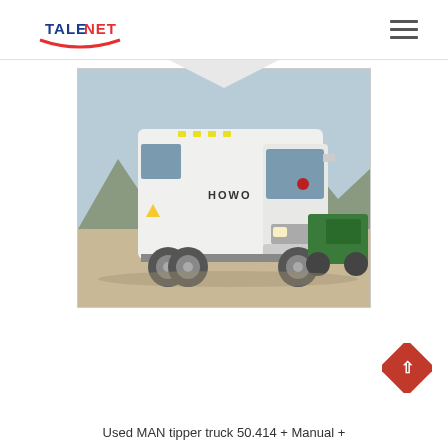TALENET
[Figure (photo): White HOWO heavy duty truck/tractor unit parked in an outdoor yard with mountains in background. Another green truck partially visible on the right.]
Used MAN tipper truck 50.414 + Manual +